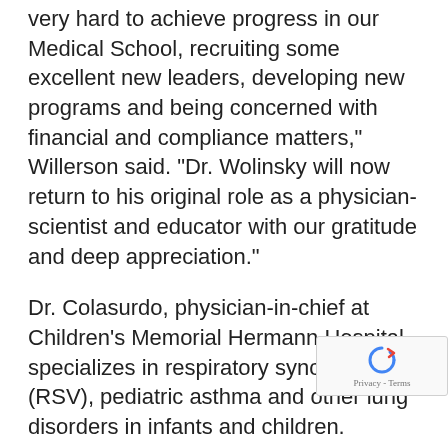very hard to achieve progress in our Medical School, recruiting some excellent new leaders, developing new programs and being concerned with financial and compliance matters," Willerson said. "Dr. Wolinsky will now return to his original role as a physician-scientist and educator with our gratitude and deep appreciation."
Dr. Colasurdo, physician-in-chief at Children's Memorial Hermann Hospital, specializes in respiratory syncytial virus (RSV), pediatric asthma and other lung disorders in infants and children.
"Dr. Colasurdo has been an important phy leader and a valuable asset to the Memorial